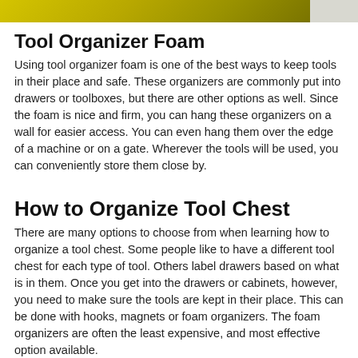[Figure (photo): Partial photo showing tool organizer foam with yellow/green tools visible at the top of the page]
Tool Organizer Foam
Using tool organizer foam is one of the best ways to keep tools in their place and safe. These organizers are commonly put into drawers or toolboxes, but there are other options as well. Since the foam is nice and firm, you can hang these organizers on a wall for easier access. You can even hang them over the edge of a machine or on a gate. Wherever the tools will be used, you can conveniently store them close by.
How to Organize Tool Chest
There are many options to choose from when learning how to organize a tool chest. Some people like to have a different tool chest for each type of tool. Others label drawers based on what is in them. Once you get into the drawers or cabinets, however, you need to make sure the tools are kept in their place. This can be done with hooks, magnets or foam organizers. The foam organizers are often the least expensive, and most effective option available.